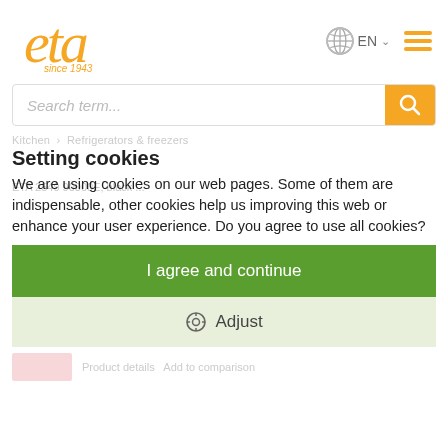[Figure (logo): eta logo in orange italic script with 'since 1943' below]
EN
Search term...
Setting cookies
We are using cookies on our web pages. Some of them are indispensable, other cookies help us improving this web or enhance your user experience. Do you agree to use all cookies?
I agree and continue
Adjust